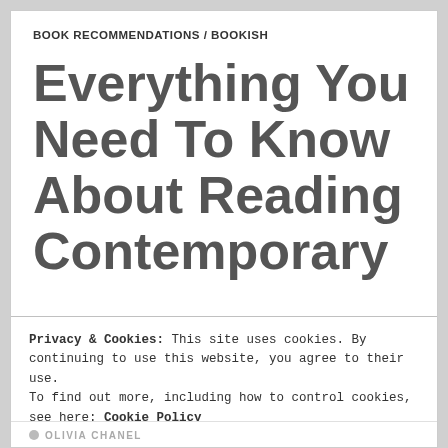BOOK RECOMMENDATIONS / BOOKISH
Everything You Need To Know About Reading Contemporary
Privacy & Cookies: This site uses cookies. By continuing to use this website, you agree to their use.
To find out more, including how to control cookies, see here: Cookie Policy
Close and accept
OLIVIA CHANEL